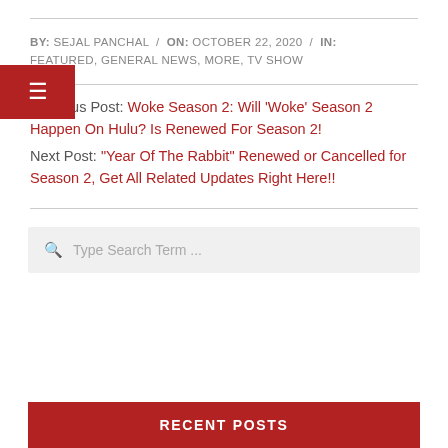BY: SEJAL PANCHAL / ON: OCTOBER 22, 2020 / IN: FEATURED, GENERAL NEWS, MORE, TV SHOW
Previous Post: Woke Season 2: Will ‘Woke’ Season 2 Happen On Hulu? Is Renewed For Season 2!
Next Post: “Year Of The Rabbit” Renewed or Cancelled for Season 2, Get All Related Updates Right Here!!
Type Search Term ...
RECENT POSTS